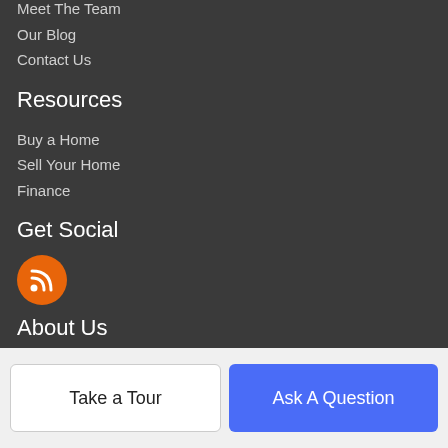Meet The Team
Our Blog
Contact Us
Resources
Buy a Home
Sell Your Home
Finance
Get Social
[Figure (illustration): Orange circle with RSS feed icon (white wifi-like signal waves)]
About Us
Key Realty
6546 Weatherfield Ct., Building C, Unit 3
Maumee, OH 43537
Take a Tour
Ask A Question